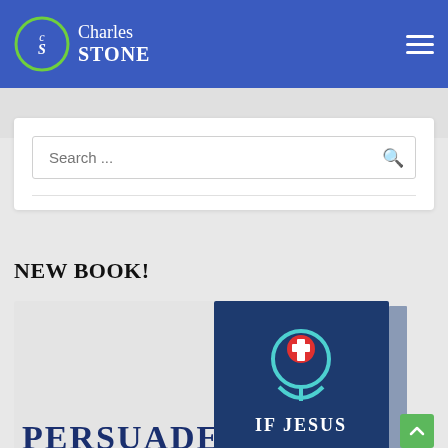Charles STONE — website header with navigation menu
Search ...
NEW BOOK!
[Figure (photo): Book cover showing 'IF JESUS' with a teal location pin icon containing a red cross, on a dark blue background. Partial view of another book cover showing 'PERSUADE' text in dark blue on the left.]